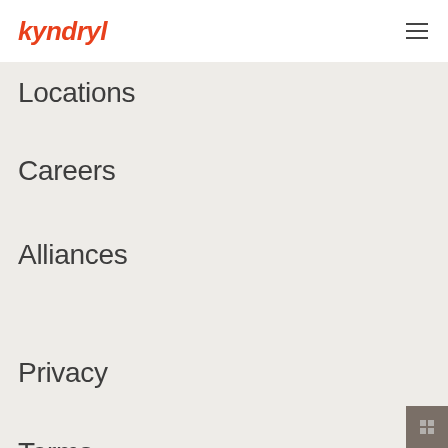kyndryl
Locations
Careers
Alliances
Privacy
Terms
Security
Certifications